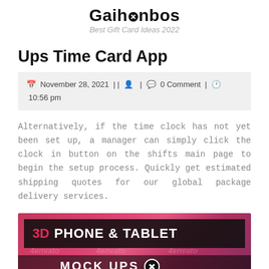Gaihonbos
Best Gift Card Ideas 2022
Ups Time Card App
📅 November 28, 2021 | | 👤 | 💬 0 Comment | 🕐 10:56 pm
Alternatively, if the time clock has not yet been set up, a manager can simply click the clock in button on the shifts main page to begin the setup process. Quickly get estimated shipping quotes for our global package delivery services.
[Figure (photo): 3D Phone & Tablet Mock-Ups promotional banner image with dark overlay text on pink/magenta gradient background, with Envato watermarks]